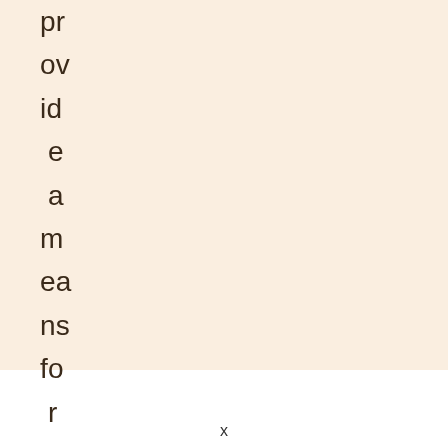provide a means for us to earn f
x